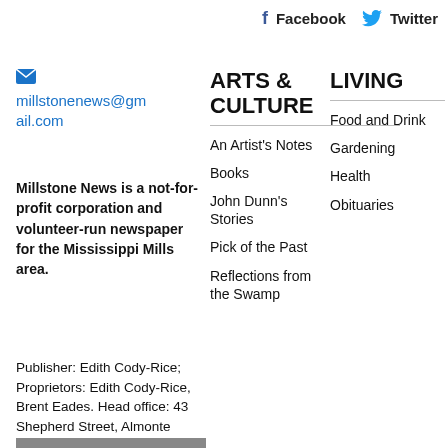f  Facebook    Twitter
millstonenews@gmail.com
Millstone News is a not-for-profit corporation and volunteer-run newspaper for the Mississippi Mills area.
ARTS & CULTURE
An Artist's Notes
Books
John Dunn's Stories
Pick of the Past
Reflections from the Swamp
LIVING
Food and Drink
Gardening
Health
Obituaries
Publisher: Edith Cody-Rice; Proprietors: Edith Cody-Rice, Brent Eades. Head office: 43 Shepherd Street, Almonte